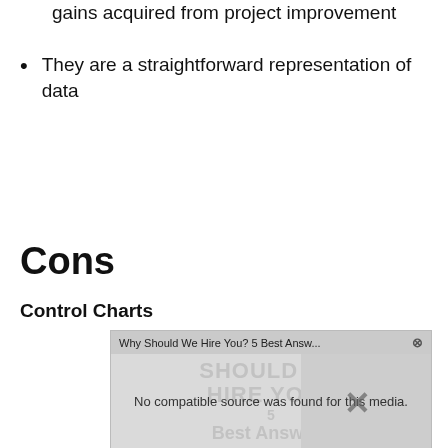gains acquired from project improvement
They are a straightforward representation of data
Cons
Control Charts
[Figure (other): Video overlay popup showing 'Why Should We Hire You? 5 Best Answ...' with message 'No compatible source was found for this media.' and background text 'SHOULD WE HIRE YOU? 5 Best Answers']